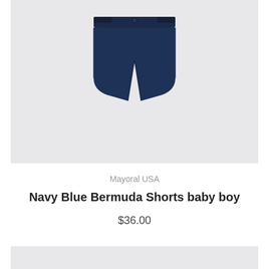[Figure (photo): Navy blue Bermuda shorts for baby boy displayed on a light gray background. The shorts are dark navy, with a button waistband and front pockets.]
Mayoral USA
Navy Blue Bermuda Shorts baby boy
$36.00
[Figure (photo): Partial view of a second product image on a light gray background, cropped at the bottom of the page.]